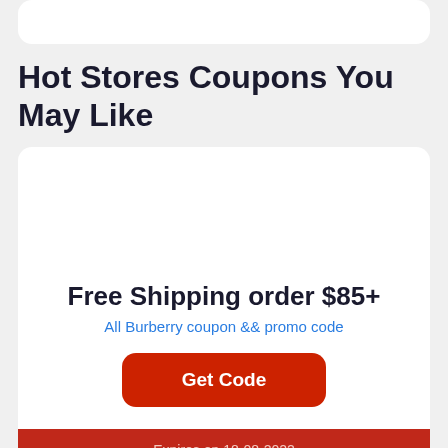Hot Stores Coupons You May Like
Free Shipping order $85+
All Burberry coupon && promo code
Get Code
Expires on 18-08-2022